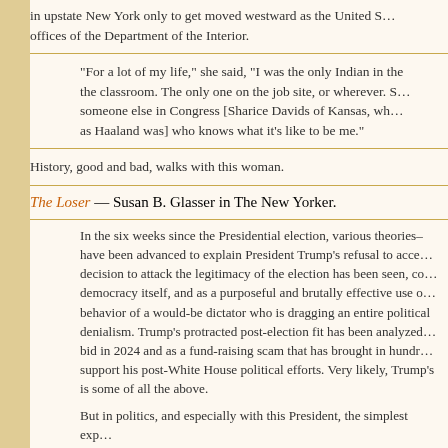in upstate New York only to get moved westward as the United S… offices of the Department of the Interior.
“For a lot of my life,” she said, “I was the only Indian in the the classroom. The only one on the job site, or wherever. S… someone else in Congress [Sharice Davids of Kansas, wh… as Haaland was] who knows what it’s like to be me.”
History, good and bad, walks with this woman.
The Loser — Susan B. Glasser in The New Yorker.
In the six weeks since the Presidential election, various theories– have been advanced to explain President Trump’s refusal to acce… decision to attack the legitimacy of the election has been seen, c… democracy itself, and as a purposeful and brutally effective use o… behavior of a would-be dictator who is dragging an entire political denialism. Trump’s protracted post-election fit has been analyzed bid in 2024 and as a fund-raising scam that has brought in hundr… support his post-White House political efforts. Very likely, Trump’s is some of all the above.
But in politics, and especially with this President, the simplest exp… the best one. Whatever the other reasons are for his ongoing pos… couldn’t be more clear that Trump is also motivated by the simple… really hates being called a “loser.” It’s one of his favorite insults, a…